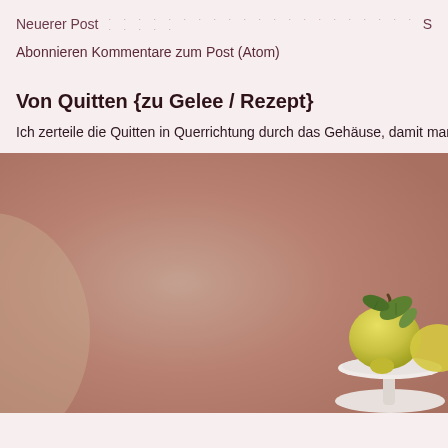Neuerer Post · · · · · · · · · · · · · · · · · · · · · S
Abonnieren Kommentare zum Post (Atom)
Von Quitten {zu Gelee / Rezept}
Ich zerteile die Quitten in Querrichtung durch das Gehäuse, damit man leic
[Figure (photo): A photo showing quince fruits on a decorative white plate stand, against a dusty rose/mauve background. A yellow-green quince with leaves is visible on the right side of the plate stand.]